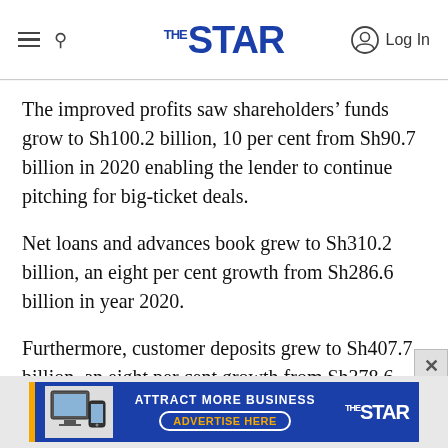The Star
The improved profits saw shareholders’ funds grow to Sh100.2 billion, 10 per cent from Sh90.7 billion in 2020 enabling the lender to continue pitching for big-ticket deals.
Net loans and advances book grew to Sh310.2 billion, an eight per cent growth from Sh286.6 billion in year 2020.
Furthermore, customer deposits grew to Sh407.7 billion, an eight per cent growth from Sh378.6 billion.
[Figure (advertisement): The Star newspaper advertisement banner: ATTRACT MORE BUSINESS / ADVERTISE HERE button, with Star logo on right and devices image on left.]